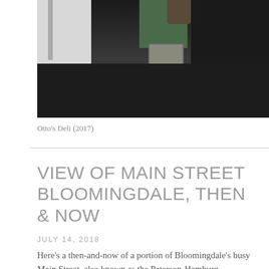[Figure (photo): Photograph of a building exterior showing a dark asphalt parking or courtyard area, a white wall on the left with a drain pipe, a green door or window at the top center, a skylight hatch, a dark car on the right side, and a small pot/plant in the upper right. This is Otto's Deli photographed in 2017.]
Otto's Deli (2017)
VIEW OF MAIN STREET BLOOMINGDALE, THEN & NOW
JULY 14, 2018
Here's a then-and-now of a portion of Bloomingdale's busy Main Street, also known as the Paterson-Hamburg